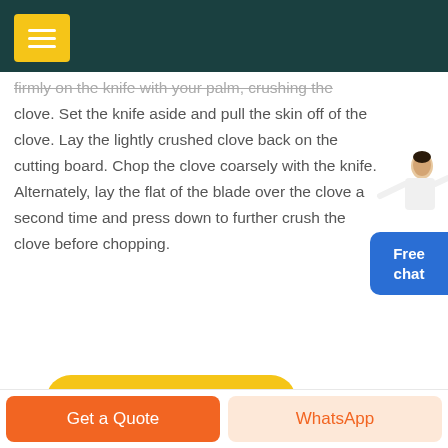(menu icon header bar)
firmly on the knife with your palm, crushing the clove. Set the knife aside and pull the skin off of the clove. Lay the lightly crushed clove back on the cutting board. Chop the clove coarsely with the knife. Alternately, lay the flat of the blade over the clove a second time and press down to further crush the clove before chopping.
[Figure (illustration): Customer service representative figure with Free chat button]
GET PRICE
Get a Quote   WhatsApp